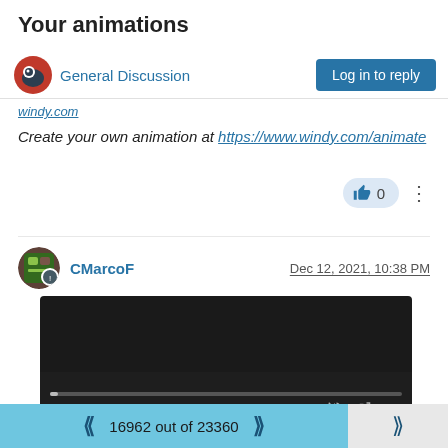Your animations
General Discussion
windy.com
Create your own animation at https://www.windy.com/animate
0
CMarcoF  Dec 12, 2021, 10:38 PM
[Figure (screenshot): Embedded video player showing a dark frame with playback controls: play button, time 0:00, mute icon, fullscreen icon, and more options button. Progress bar at bottom.]
16962 out of 23360